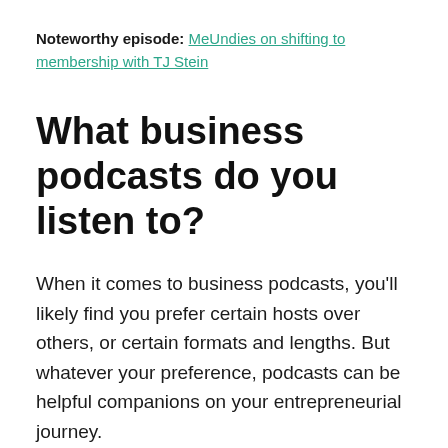Noteworthy episode: MeUndies on shifting to membership with TJ Stein
What business podcasts do you listen to?
When it comes to business podcasts, you'll likely find you prefer certain hosts over others, or certain formats and lengths. But whatever your preference, podcasts can be helpful companions on your entrepreneurial journey.
There are a lot of podcasts on this list, and with